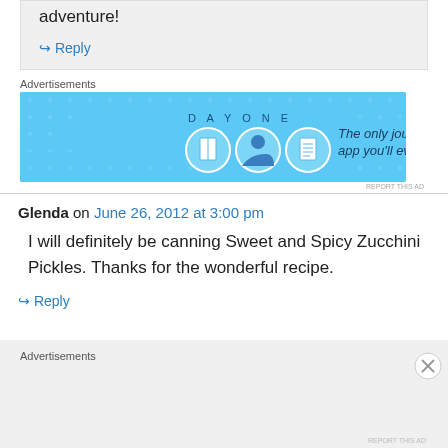adventure!
↳ Reply
Advertisements
[Figure (illustration): DayOne app advertisement banner - blue background with app icons and text 'The only journaling app you'll ever need.']
REPORT THIS AD
Glenda on June 26, 2012 at 3:00 pm
I will definitely be canning Sweet and Spicy Zucchini Pickles. Thanks for the wonderful recipe.
↳ Reply
Advertisements
REPORT THIS AD